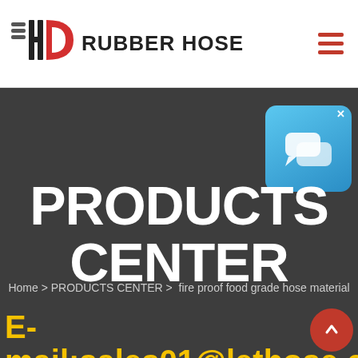HD RUBBER HOSE
PRODUCTS CENTER
Home > PRODUCTS CENTER > fire proof food grade hose material
E-mail:sales01@lethose.com